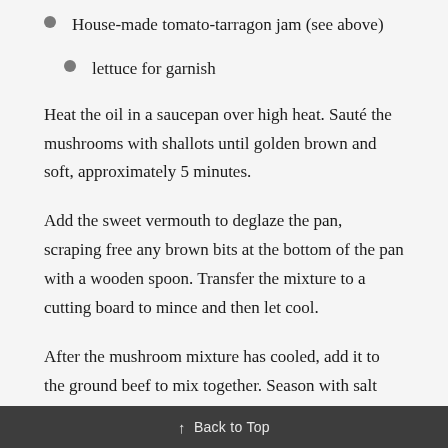House-made tomato-tarragon jam (see above)
lettuce for garnish
Heat the oil in a saucepan over high heat. Sauté the mushrooms with shallots until golden brown and soft, approximately 5 minutes.
Add the sweet vermouth to deglaze the pan, scraping free any brown bits at the bottom of the pan with a wooden spoon. Transfer the mixture to a cutting board to mince and then let cool.
After the mushroom mixture has cooled, add it to the ground beef to mix together. Season with salt and pepper and then form patties.
↑  Back to Top